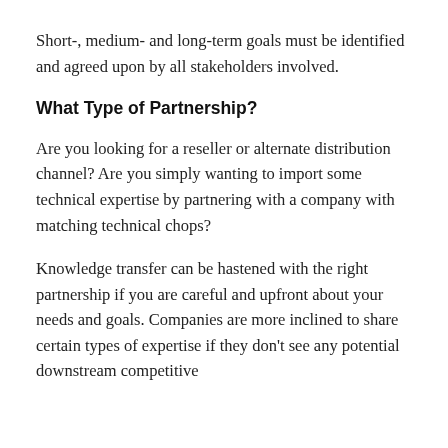Short-, medium- and long-term goals must be identified and agreed upon by all stakeholders involved.
What Type of Partnership?
Are you looking for a reseller or alternate distribution channel? Are you simply wanting to import some technical expertise by partnering with a company with matching technical chops?
Knowledge transfer can be hastened with the right partnership if you are careful and upfront about your needs and goals. Companies are more inclined to share certain types of expertise if they don’t see any potential downstream competitive